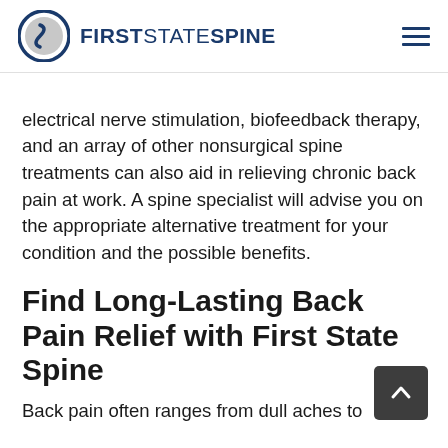First State Spine
electrical nerve stimulation, biofeedback therapy, and an array of other nonsurgical spine treatments can also aid in relieving chronic back pain at work. A spine specialist will advise you on the appropriate alternative treatment for your condition and the possible benefits.
Find Long-Lasting Back Pain Relief with First State Spine
Back pain often ranges from dull aches to